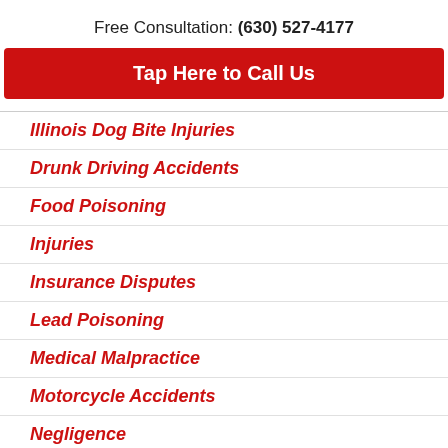Free Consultation: (630) 527-4177
Tap Here to Call Us
Illinois Dog Bite Injuries
Drunk Driving Accidents
Food Poisoning
Injuries
Insurance Disputes
Lead Poisoning
Medical Malpractice
Motorcycle Accidents
Negligence
Nursing Home Abuse & Neglect
Pedestrian Accidents